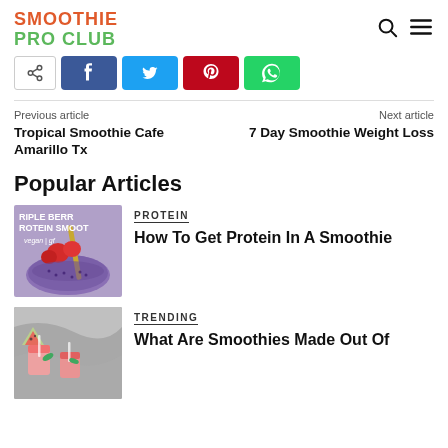SMOOTHIE PRO CLUB
[Figure (screenshot): Share bar with share, Facebook, Twitter, Pinterest, and WhatsApp buttons]
Previous article
Tropical Smoothie Cafe Amarillo Tx
Next article
7 Day Smoothie Weight Loss
Popular Articles
PROTEIN
How To Get Protein In A Smoothie
TRENDING
What Are Smoothies Made Out Of